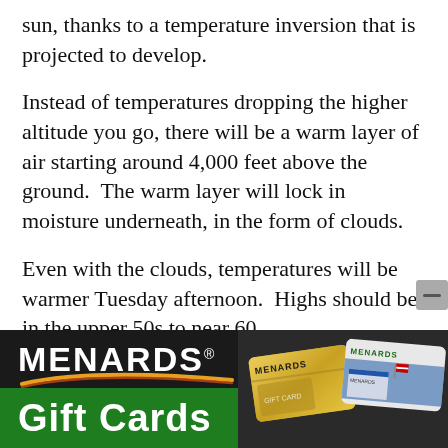sun, thanks to a temperature inversion that is projected to develop.
Instead of temperatures dropping the higher altitude you go, there will be a warm layer of air starting around 4,000 feet above the ground.  The warm layer will lock in moisture underneath, in the form of clouds.
Even with the clouds, temperatures will be warmer Tuesday afternoon.  Highs should be in the upper 50s to near 60.
Rain returns to the area Wednesday afternoon and evening and should continue through
[Figure (illustration): Menards Gift Cards advertisement banner. Dark background with Menards logo in white bold lettering with registered trademark symbol and a colorful swoosh arc underneath. Green strip at bottom with 'Gift Cards' text in white bold letters. Right side shows images of gold Menards gift card and Menards store building on a gift card.]